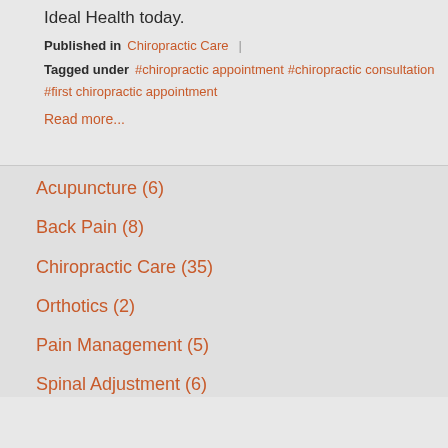Ideal Health today.
Published in  Chiropractic Care
Tagged under  #chiropractic appointment  #chiropractic consultation  #first chiropractic appointment
Read more...
Acupuncture  (6)
Back Pain  (8)
Chiropractic Care  (35)
Orthotics  (2)
Pain Management  (5)
Spinal Adjustment  (6)